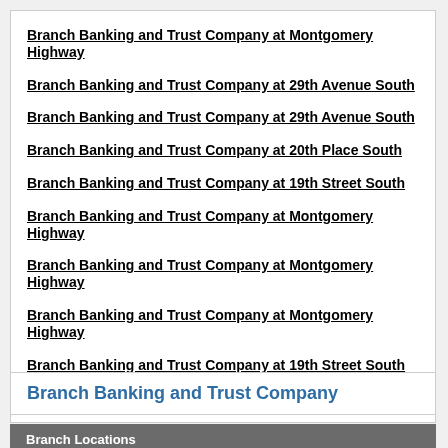Branch Banking and Trust Company at Montgomery Highway
Branch Banking and Trust Company at 29th Avenue South
Branch Banking and Trust Company at 29th Avenue South
Branch Banking and Trust Company at 20th Place South
Branch Banking and Trust Company at 19th Street South
Branch Banking and Trust Company at Montgomery Highway
Branch Banking and Trust Company at Montgomery Highway
Branch Banking and Trust Company at Montgomery Highway
Branch Banking and Trust Company at 19th Street South
Branch Banking and Trust Company at Red Lane Road
Branch Banking and Trust Company
Branch Locations